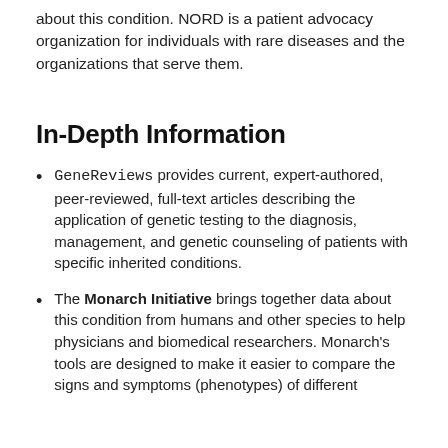about this condition. NORD is a patient advocacy organization for individuals with rare diseases and the organizations that serve them.
In-Depth Information
GeneReviews provides current, expert-authored, peer-reviewed, full-text articles describing the application of genetic testing to the diagnosis, management, and genetic counseling of patients with specific inherited conditions.
The Monarch Initiative brings together data about this condition from humans and other species to help physicians and biomedical researchers. Monarch's tools are designed to make it easier to compare the signs and symptoms (phenotypes) of different...